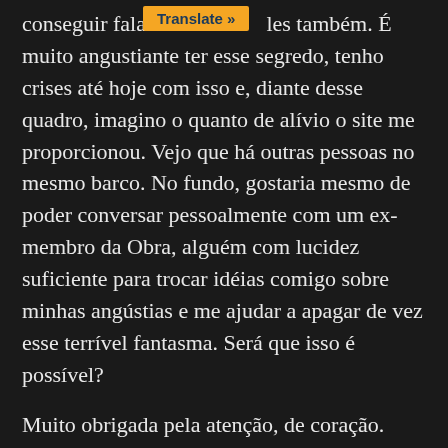[Figure (other): Orange 'Translate »' button overlay]
conseguir falar s[...] les também. É muito angustiante ter esse segredo, tenho crises até hoje com isso e, diante desse quadro, imagino o quanto de alívio o site me proporcionou. Vejo que há outras pessoas no mesmo barco. No fundo, gostaria mesmo de poder conversar pessoalmente com um ex-membro da Obra, alguém com lucidez suficiente para trocar idéias comigo sobre minhas angústias e me ajudar a apagar de vez esse terrível fantasma. Será que isso é possível?
Muito obrigada pela atenção, de coração.
Um abraço fraterno